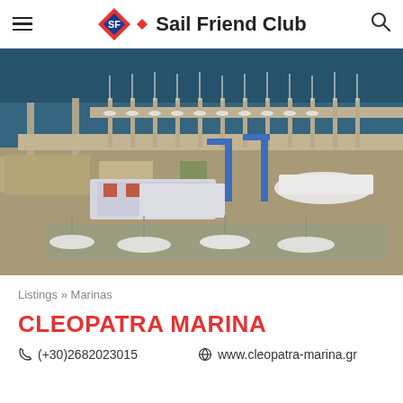Sail Friend Club
[Figure (photo): Aerial view of Cleopatra Marina showing boats docked at piers, boats on dry storage with blue crane, and harbor facilities]
Listings » Marinas
CLEOPATRA MARINA
(+30)2682023015    www.cleopatra-marina.gr